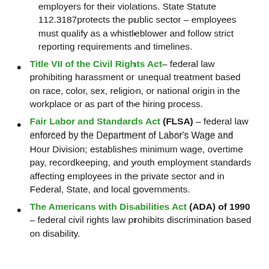employers for their violations. State Statute 112.3187protects the public sector – employees must qualify as a whistleblower and follow strict reporting requirements and timelines.
Title VII of the Civil Rights Act– federal law prohibiting harassment or unequal treatment based on race, color, sex, religion, or national origin in the workplace or as part of the hiring process.
Fair Labor and Standards Act (FLSA) – federal law enforced by the Department of Labor's Wage and Hour Division; establishes minimum wage, overtime pay, recordkeeping, and youth employment standards affecting employees in the private sector and in Federal, State, and local governments.
The Americans with Disabilities Act (ADA) of 1990 – federal civil rights law prohibits discrimination based on disability.